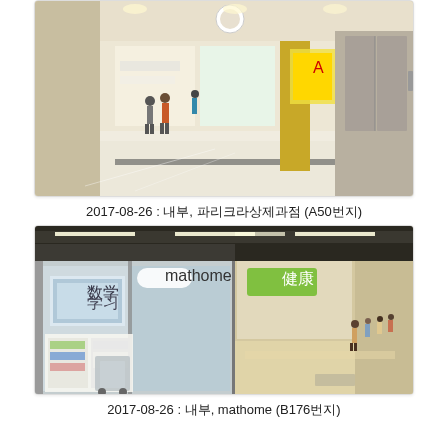[Figure (photo): Indoor shopping mall corridor with shiny white floor, people walking, retail stores with colorful displays and elevator doors on the right side]
2017-08-26 : 내부, 파리크라상제과점 (A50번지)
[Figure (photo): Indoor shopping mall storefront with frosted glass panels, a mounted display screen, shop signs, and a corridor with people walking in the background]
2017-08-26 : 내부, mathome (B176번지)